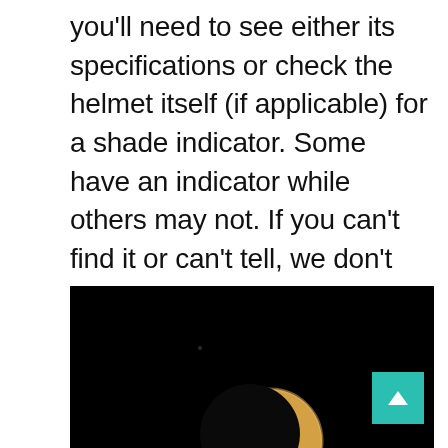you'll need to see either its specifications or check the helmet itself (if applicable) for a shade indicator. Some have an indicator while others may not. If you can't find it or can't tell, we don't recommend taking the risk. Once more, while a welding helmet is a potential solution to safely viewing a solar eclipse, it's not the most practical. They're bulky and heavy and primarily used for industrial labor. They're a good backup, but better options do exist.
[Figure (photo): A solar eclipse photo against a black background showing the moon partially covering the sun with an orange/amber glow visible around the silhouette. A scroll-to-top button (teal/green) is visible in the bottom right corner.]